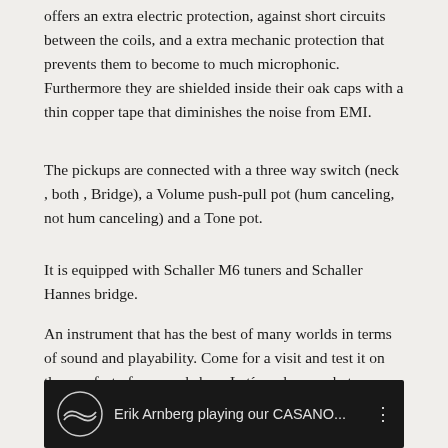offers an extra electric protection, against short circuits between the coils, and a extra mechanic protection that prevents them to become to much microphonic. Furthermore they are shielded inside their oak caps with a thin copper tape that diminishes the noise from EMI.
The pickups are connected with a three way switch (neck , both , Bridge), a Volume push-pull pot (hum canceling, not hum canceling) and a Tone pot.
It is equipped with Schaller M6 tuners and Schaller Hannes bridge.
An instrument that has the best of many worlds in terms of sound and playability. Come for a visit and test it on the comfort of our workshop. Let´s us know what you think about it here.
[Figure (screenshot): Video thumbnail showing Erik Arnberg playing our CASANO... with a circular logo on dark background]